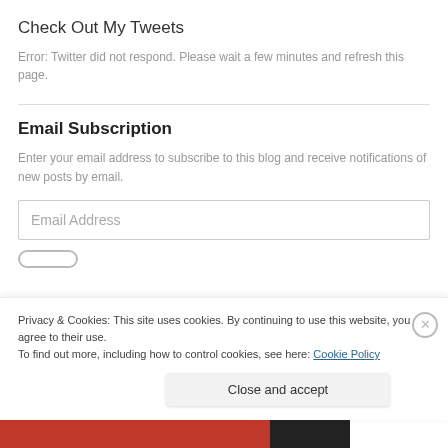Check Out My Tweets
Error: Twitter did not respond. Please wait a few minutes and refresh this page.
Email Subscription
Enter your email address to subscribe to this blog and receive notifications of new posts by email.
Email Address
Privacy & Cookies: This site uses cookies. By continuing to use this website, you agree to their use. To find out more, including how to control cookies, see here: Cookie Policy
Close and accept